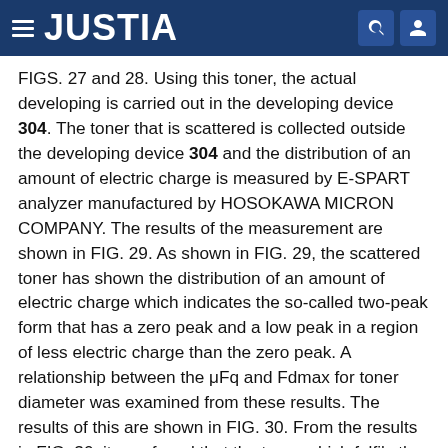JUSTIA
FIGS. 27 and 28. Using this toner, the actual developing is carried out in the developing device 304. The toner that is scattered is collected outside the developing device 304 and the distribution of an amount of electric charge is measured by E-SPART analyzer manufactured by HOSOKAWA MICRON COMPANY. The results of the measurement are shown in FIG. 29. As shown in FIG. 29, the scattered toner has shown the distribution of an amount of electric charge which indicates the so-called two-peak form that has a zero peak and a low peak in a region of less electric charge than the zero peak. A relationship between the μFq and Fdmax for toner diameter was examined from these results. The results of this are shown in FIG. 30. From the results in FIG. 30, it was found that the toner which fulfils the relational equation C7 is scattered.